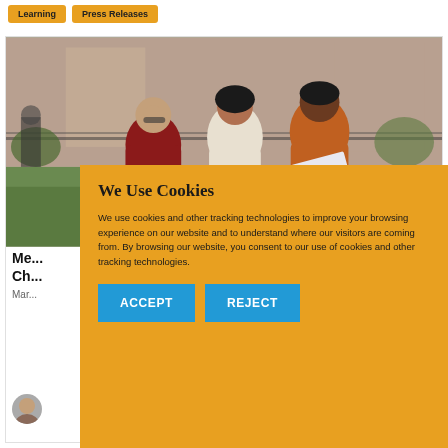Learning   Press Releases
[Figure (photo): Three students sitting outdoors on grass, studying together with books and notebooks. Brick building visible in background.]
Me... Ch...
Mar...
[Figure (photo): Small circular avatar photo of a person]
We Use Cookies
We use cookies and other tracking technologies to improve your browsing experience on our website and to understand where our visitors are coming from. By browsing our website, you consent to our use of cookies and other tracking technologies.
ACCEPT   REJECT